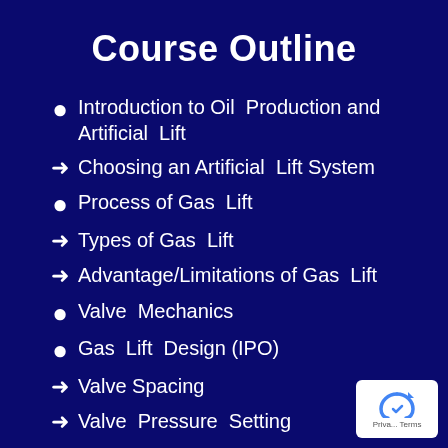Course Outline
Introduction to Oil  Production and Artificial  Lift
Choosing an Artificial  Lift System
Process of Gas  Lift
Types of Gas  Lift
Advantage/Limitations of Gas  Lift
Valve  Mechanics
Gas  Lift  Design (IPO)
Valve Spacing
Valve  Pressure  Setting